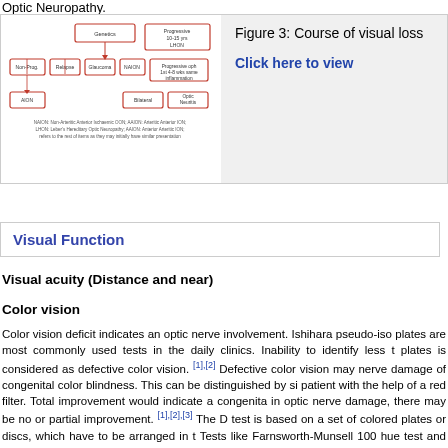Optic Neuropathy.
[Figure (flowchart): Flowchart showing course of visual loss with boxes connected by arrows in red/pink outline]
Figure 3: Course of visual loss
Click here to view
Visual Function
Visual acuity (Distance and near)
Color vision
Color vision deficit indicates an optic nerve involvement. Ishihara pseudo-isochromatic plates are most commonly used tests in the daily clinics. Inability to identify less than 7 plates is considered as defective color vision. [1],[2] Defective color vision may indicate optic nerve damage of congenital color blindness. This can be distinguished by simple test done on patient with the help of a red filter. Total improvement would indicate a congenital cause whereas in optic nerve damage, there may be no or partial improvement. [1],[2],[3] The D-15 dichotomous test is based on a set of colored plates or discs, which have to be arranged in the correct order. Tests like Farnsworth-Munsell 100 hue test and Hardy-Rand-Ritter (HRR) color plates are more accurate and detailed. Though these tests can identify very early or fine changes